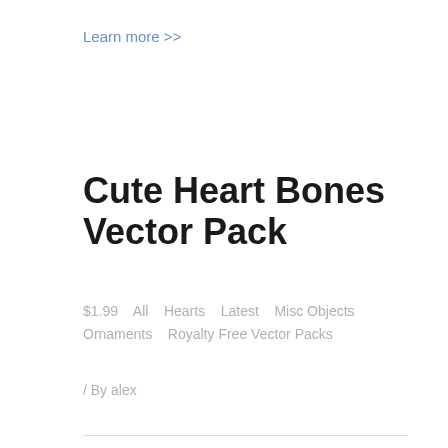Learn more >>
Cute Heart Bones Vector Pack
$1.99  All  Hearts  Latest  Misc Objects  Ornaments  Royalty Free Vector Packs
/ By alex